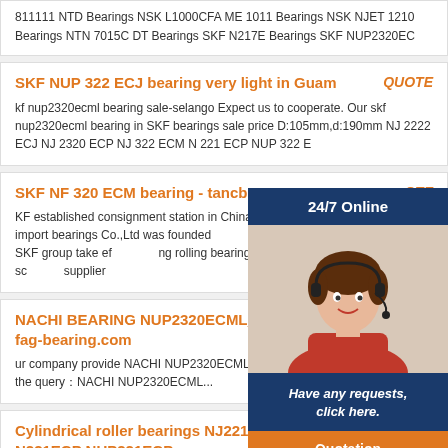811111 NTD Bearings NSK L1000CFA ME 1011 Bearings NSK NJET 1210 Bearings NTN 7015C DT Bearings SKF N217E Bearings SKF NUP2320EC
SKF NUP 322 ECJ bearing very light in Guam   QUOTE
kf nup2320ecml bearing sale-selango Expect us to cooperate. Our skf nup2320ecml bearing in SKF bearings sale price D:105mm,d:190mm NJ 2222 ECJ NJ 2320 ECP NJ 322 ECM N 221 ECP NUP 322 E
SKF NF 320 ECM bearing - tancbe...   QUOTE
KF established consignment station in China afb... ears later, SKF import bearings Co.,Ltd was founded... icial partner of SKF NF 320 ECM, SKF group take ef... ng rolling bearings and seals products, customer sc... supplier
NACHI BEARING NUP2320ECML_... fag-bearing.com   QUOTE
ur company provide NACHI NUP2320ECML BE... odel parameters of the query:NACHI NUP2320ECML...
[Figure (illustration): Live chat widget overlay showing a customer service representative with headset. Header reads '24/7 Online'. Message area reads 'Have any requests, click here.' with an orange 'Quotation' button.]
Cylindrical roller bearings NJ221ECML N221ECP NUP221ECP   QUOTE